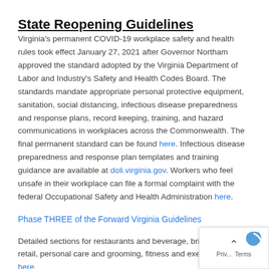State Reopening Guidelines
Virginia's permanent COVID-19 workplace safety and health rules took effect January 27, 2021 after Governor Northam approved the standard adopted by the Virginia Department of Labor and Industry's Safety and Health Codes Board. The standards mandate appropriate personal protective equipment, sanitation, social distancing, infectious disease preparedness and response plans, record keeping, training, and hazard communications in workplaces across the Commonwealth. The final permanent standard can be found here. Infectious disease preparedness and response plan templates and training guidance are available at doli.virginia.gov. Workers who feel unsafe in their workplace can file a formal complaint with the federal Occupational Safety and Health Administration here.
Phase THREE of the Forward Virginia Guidelines
Detailed sections for restaurants and beverage, brick and mortar retail, personal care and grooming, fitness and exercise can be here.